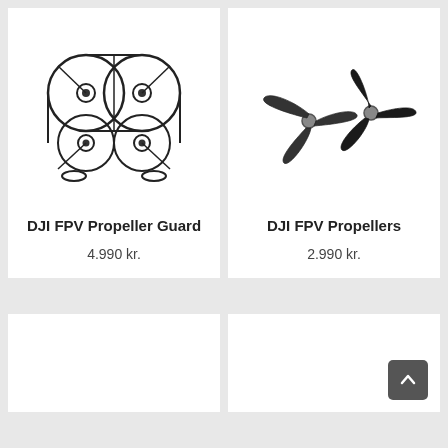[Figure (illustration): DJI FPV Propeller Guard product illustration showing drone frame guard from top view]
DJI FPV Propeller Guard
4.990 kr.
[Figure (illustration): DJI FPV Propellers product illustration showing three-blade propellers]
DJI FPV Propellers
2.990 kr.